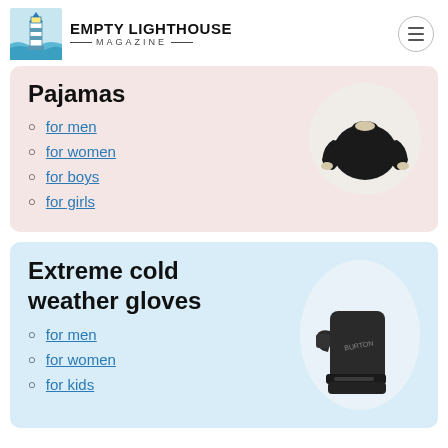EMPTY LIGHTHOUSE MAGAZINE
Pajamas
for men
for women
for boys
for girls
[Figure (photo): Black fleece crew-neck pajama top with sherpa-lined cuffs on white circular background]
Extreme cold weather gloves
for men
for women
for kids
[Figure (photo): Dark grey/black Burton extreme cold weather ski mittens/gloves on white circular background]